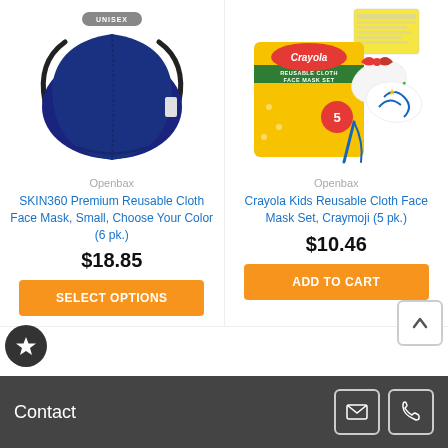[Figure (photo): Navy blue SKIN360 premium reusable cloth face mask with black ear loops, SKIN360 logo text below]
[Figure (photo): Crayola Kids Reusable Cloth Face Mask Set Craymoji 5pk product packaging with colorful masks]
Openbax
Openbax
SKIN360 Premium Reusable Cloth Face Mask, Small, Choose Your Color (6 pk.)
Crayola Kids Reusable Cloth Face Mask Set, Craymoji (5 pk.)
$18.85
$10.46
SELECT OPTIONS
ADD TO CART
Contact